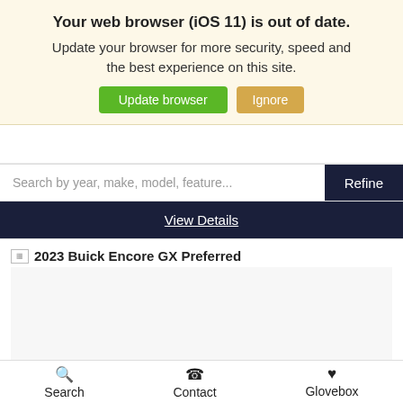Your web browser (iOS 11) is out of date. Update your browser for more security, speed and the best experience on this site.
[Figure (screenshot): Two buttons: green 'Update browser' and tan/orange 'Ignore']
Search by year, make, model, feature...
Refine
View Details
2023 Buick Encore GX Preferred
New 2023
Buick Encore GX Preferred
Search   Contact   Glovebox